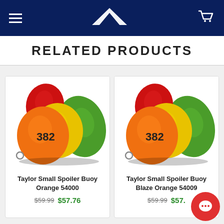Navigation bar with hamburger menu, boat logo, and cart icon
RELATED PRODUCTS
[Figure (photo): Taylor Small Spoiler Buoy Orange 54000 - group of colorful buoys in orange, yellow, red, green]
Taylor Small Spoiler Buoy Orange 54000
$59.99  $57.76
[Figure (photo): Taylor Small Spoiler Buoy Blaze Orange 54009 - group of colorful buoys in orange, yellow, red, green]
Taylor Small Spoiler Buoy Blaze Orange 54009
$59.99  $57.